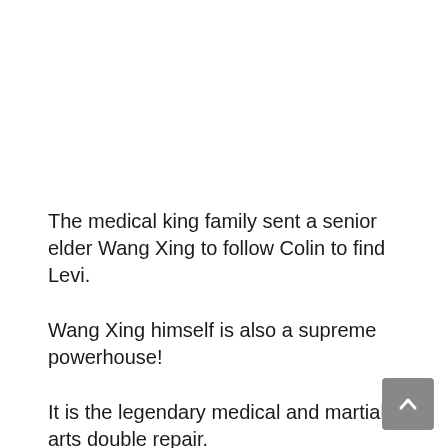The medical king family sent a senior elder Wang Xing to follow Colin to find Levi.
Wang Xing himself is also a supreme powerhouse!
It is the legendary medical and martial arts double repair.
Even medical skills are also practiced, and martial arts are also practiced.